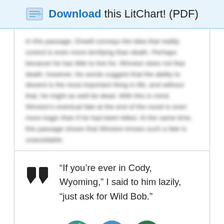Download this LitChart! (PDF)
In this passage, Orwell conveys the idea that reality control is even more terrifying than death. Perhaps because he has little to live for, Winston does not fear death; however, his words suggest that the ability to dissent is the most important thing in life, and without that, he might as well be dead. With this in mind, Winston's eventual fate at the end of the novel is even more tragic than if he had been killed. At the same time, this passage shows that Winston knows such a fate is unavoidable.
“If you’re ever in Cody, Wyoming,” I said to him lazily, “just ask for Wild Bob.”
[Figure (illustration): Three circular icon buttons: a grenade icon (teal), a person/radio icon (blue), and an eye icon (green)]